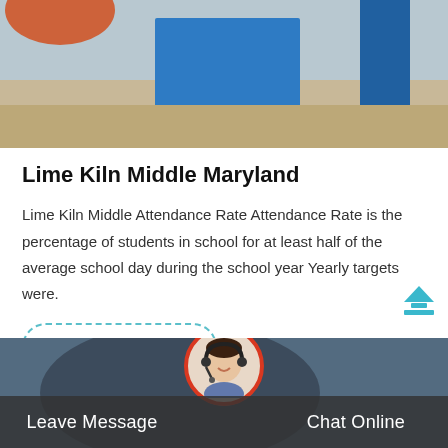[Figure (photo): Photo of a blue industrial machine/kiln equipment outdoors on a sandy surface with an orange element visible in the upper left]
Lime Kiln Middle Maryland
Lime Kiln Middle Attendance Rate Attendance Rate is the percentage of students in school for at least half of the average school day during the school year Yearly targets were.
Get Price
[Figure (photo): Background photo of a person with headset (customer service representative) inside a vehicle or dark background, partially visible at the bottom of the page]
Leave Message
Chat Online